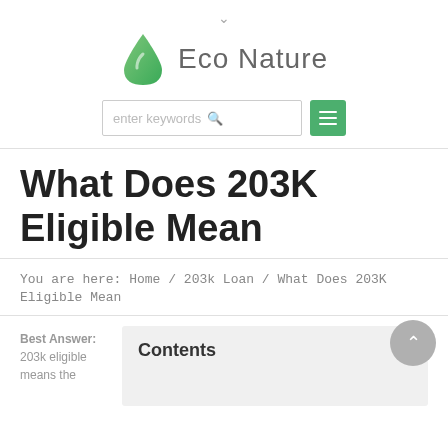Eco Nature
What Does 203K Eligible Mean
You are here: Home / 203k Loan / What Does 203K Eligible Mean
Best Answer: 203k eligible means the
Contents